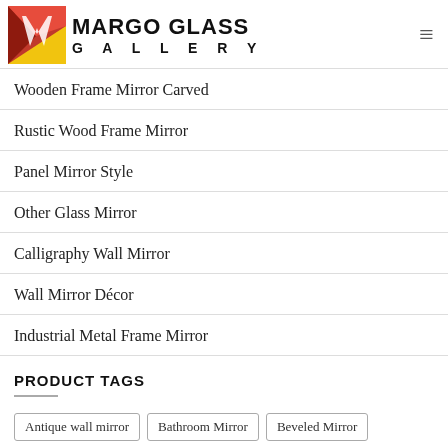Margo Glass Gallery
Wooden Frame Mirror Carved
Rustic Wood Frame Mirror
Panel Mirror Style
Other Glass Mirror
Calligraphy Wall Mirror
Wall Mirror Décor
Industrial Metal Frame Mirror
PRODUCT TAGS
Antique wall mirror
Bathroom Mirror
Beveled Mirror
Bubble Mirror
Cabinet Furniture
Cabinet Mirror